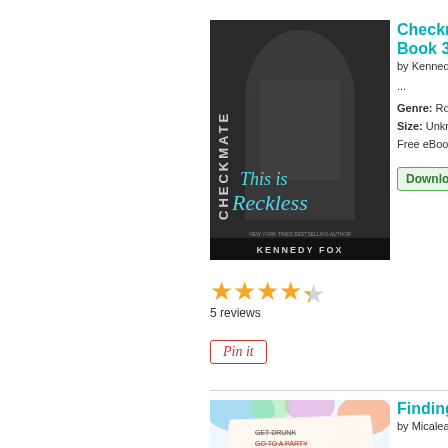[Figure (illustration): Book cover of 'Checkmate: This is Reckless' (Book 3) by Kennedy Fox. Black and white image of a shirtless tattooed male with 'Checkmate' written vertically and 'This is Reckless' in script. Author name Kennedy Fox at bottom.]
Checkmate: Book 3 by Kennedy ...
Genre: Ro
Size: Unkn
Free eBoo
★★★★☆
5 reviews
[Figure (illustration): Pin it button with red border and italic text 'Pin it']
[Figure (illustration): Book cover of 'Finding Olivia' by Micalea. Colorful cover with a list including 'Get drunk', 'Go to a party' (struck through), 'Lose my virginity' (struck through). Text reads 'Love, Laughs, and a List' and 'Finding Olivia'.]
Finding...
by Micalea
...
Genre: Ro
Size: Unkn
Free eBoo